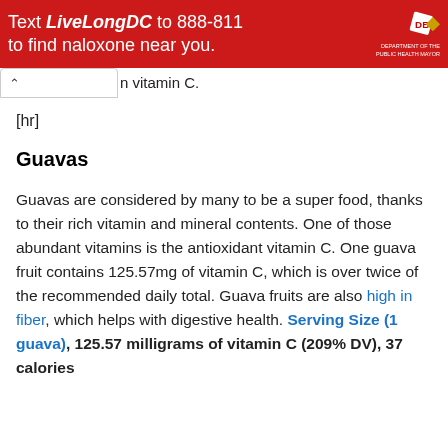[Figure (other): Red banner advertisement: 'Text LiveLongDC to 888-811 to find naloxone near you.' with DBH logo on the right side.]
n vitamin C.
[hr]
Guavas
Guavas are considered by many to be a super food, thanks to their rich vitamin and mineral contents. One of those abundant vitamins is the antioxidant vitamin C. One guava fruit contains 125.57mg of vitamin C, which is over twice of the recommended daily total. Guava fruits are also high in fiber, which helps with digestive health. Serving Size (1 guava), 125.57 milligrams of vitamin C (209% DV), 37 calories